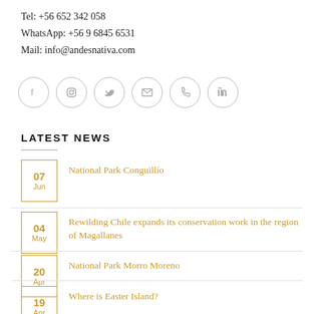Tel: +56 652 342 058
WhatsApp: +56 9 6845 6531
Mail: info@andesnativa.com
[Figure (infographic): Row of 6 circular social media icons: Facebook, Instagram, Twitter, Email, Phone, LinkedIn]
LATEST NEWS
07 Jun — National Park Conguillío
04 May — Rewilding Chile expands its conservation work in the region of Magallanes
20 Apr — National Park Morro Moreno
19 Apr — Where is Easter Island?